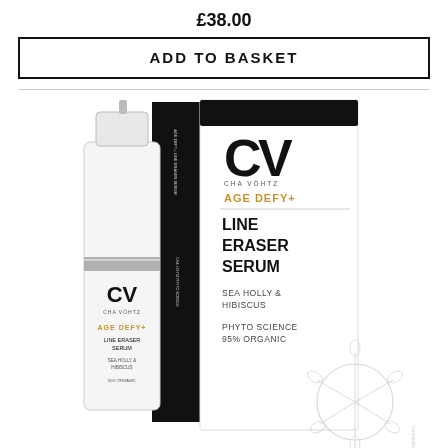£38.00
ADD TO BASKET
[Figure (photo): Product photo showing Cha Vöhtz Age Defy+ Line Eraser Serum bottle and box. The white pump bottle displays the CV logo, Age Defy+ in gold, Line Eraser Serum, Sea Holly & Hibiscus, 95% Organic. The black and white box shows the same branding with a sea holly botanical illustration.]